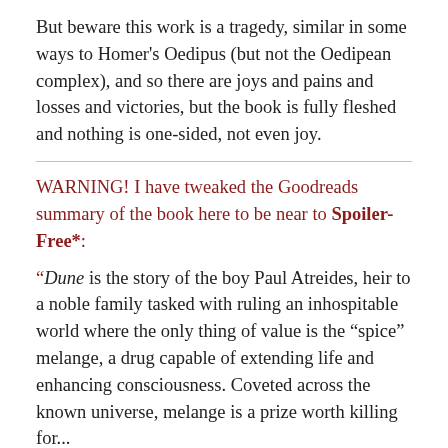But beware this work is a tragedy, similar in some ways to Homer's Oedipus (but not the Oedipean complex), and so there are joys and pains and losses and victories, but the book is fully fleshed and nothing is one-sided, not even joy.
WARNING! I have tweaked the Goodreads summary of the book here to be near to Spoiler-Free*:
“Dune is the story of the boy Paul Atreides, heir to a noble family tasked with ruling an inhospitable world where the only thing of value is the “spice” melange, a drug capable of extending life and enhancing consciousness. Coveted across the known universe, melange is a prize worth killing for...